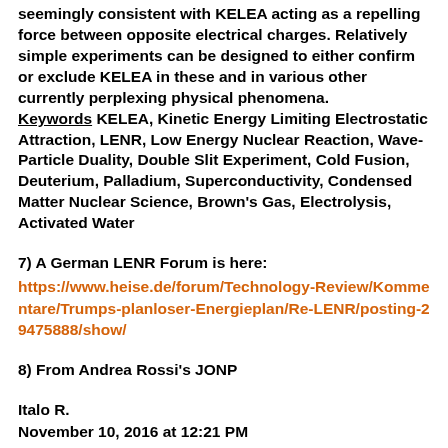seemingly consistent with KELEA acting as a repelling force between opposite electrical charges. Relatively simple experiments can be designed to either confirm or exclude KELEA in these and in various other currently perplexing physical phenomena.
Keywords KELEA, Kinetic Energy Limiting Electrostatic Attraction, LENR, Low Energy Nuclear Reaction, Wave-Particle Duality, Double Slit Experiment, Cold Fusion, Deuterium, Palladium, Superconductivity, Condensed Matter Nuclear Science, Brown's Gas, Electrolysis, Activated Water
7) A German LENR Forum is here:
https://www.heise.de/forum/Technology-Review/Kommentare/Trumps-planloser-Energieplan/Re-LENR/posting-29475888/show/
8) From Andrea Rossi's JONP
Italo R.
November 10, 2016 at 12:21 PM
Dear Dr. Rossi, I was asked from a readier than 1000...